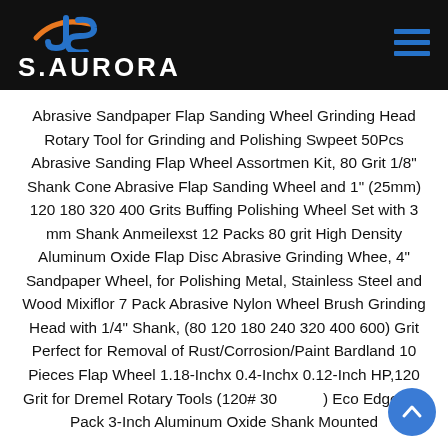S.AURORA
Abrasive Sandpaper Flap Sanding Wheel Grinding Head Rotary Tool for Grinding and Polishing Swpeet 50Pcs Abrasive Sanding Flap Wheel Assortmen Kit, 80 Grit 1/8" Shank Cone Abrasive Flap Sanding Wheel and 1" (25mm) 120 180 320 400 Grits Buffing Polishing Wheel Set with 3 mm Shank Anmeilexst 12 Packs 80 grit High Density Aluminum Oxide Flap Disc Abrasive Grinding Whee, 4" Sandpaper Wheel, for Polishing Metal, Stainless Steel and Wood Mixiflor 7 Pack Abrasive Nylon Wheel Brush Grinding Head with 1/4" Shank, (80 120 180 240 320 400 600) Grit Perfect for Removal of Rust/Corrosion/Paint Bardland 10 Pieces Flap Wheel 1.18-Inchx 0.4-Inchx 0.12-Inch HP,120 Grit for Dremel Rotary Tools (120# 30) Eco Edge 10-Pack 3-Inch Aluminum Oxide Shank Mounted